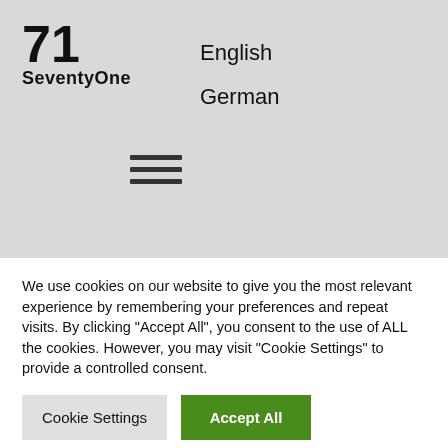[Figure (logo): SeventyOne logo with large bold '71' and 'SeventyOne' text below]
English
German
[Figure (other): Hamburger menu icon with three horizontal lines]
circumstances, you can get disruptive innovations the way you like them, and in contrast. something outside your
We use cookies on our website to give you the most relevant experience by remembering your preferences and repeat visits. By clicking "Accept All", you consent to the use of ALL the cookies. However, you may visit "Cookie Settings" to provide a controlled consent.
Cookie Settings
Accept All